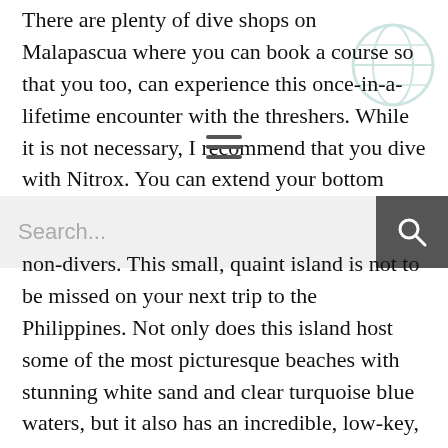There are plenty of dive shops on Malapascua where you can book a course so that you too, can experience this once-in-a-lifetime encounter with the threshers. While it is not necessary, I recommend that you dive with Nitrox. You can extend your bottom time and increase your chances of seeing the sharks. Even though
[Figure (screenshot): Search bar with text input showing 'Search...' placeholder and a dark grey search button with magnifying glass icon on the right]
non-divers. This small, quaint island is not to be missed on your next trip to the Philippines. Not only does this island host some of the most picturesque beaches with stunning white sand and clear turquoise blue waters, but it also has an incredible, low-key, tropical island vibes like no other.